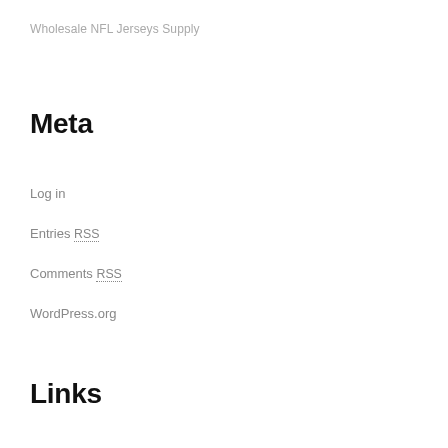Wholesale NFL Jerseys Supply
Meta
Log in
Entries RSS
Comments RSS
WordPress.org
Links